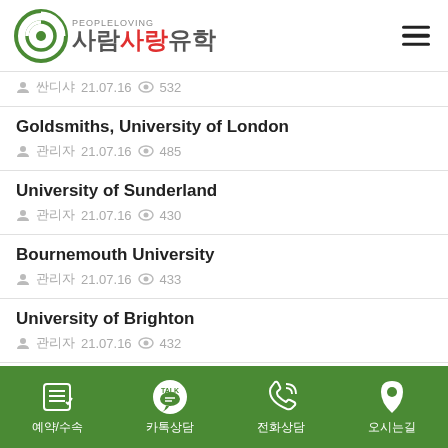PEOPLELOVING 사람사랑유학
싼디샤 21.07.16 👁 532
Goldsmiths, University of London
관리자 21.07.16 👁 485
University of Sunderland
관리자 21.07.16 👁 430
Bournemouth University
관리자 21.07.16 👁 433
University of Brighton
관리자 21.07.16 👁 432
University of Buckingham
예약/수속 카톡상담 전화상담 오시는길